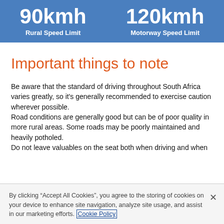90kmh Rural Speed Limit | 120kmh Motorway Speed Limit
Important things to note
Be aware that the standard of driving throughout South Africa varies greatly, so it's generally recommended to exercise caution wherever possible.
Road conditions are generally good but can be of poor quality in more rural areas. Some roads may be poorly maintained and heavily potholed.
Do not leave valuables on the seat both when driving and when
By clicking "Accept All Cookies", you agree to the storing of cookies on your device to enhance site navigation, analyze site usage, and assist in our marketing efforts. Cookie Policy